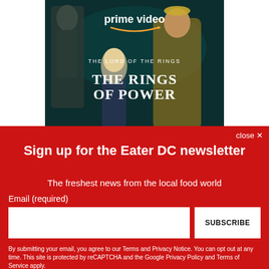[Figure (illustration): Amazon Prime Video advertisement showing The Lord of the Rings: The Rings of Power promotional image with two female characters and a stone statue in a dark forest setting. The Prime Video logo and show title are displayed.]
close ✕
Sign up for the Eater DC newsletter
The freshest news from the local food world
Email (required)
SUBSCRIBE
By submitting your email, you agree to our Terms and Privacy Notice. You can opt out at any time. This site is protected by reCAPTCHA and the Google Privacy Policy and Terms of Service apply.